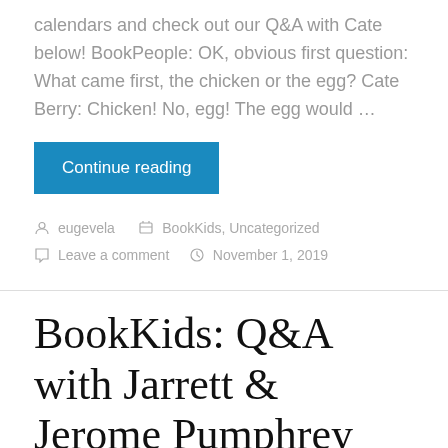calendars and check out our Q&A with Cate below! BookPeople: OK, obvious first question: What came first, the chicken or the egg? Cate Berry: Chicken! No, egg! The egg would ...
Continue reading
eugevela   BookKids, Uncategorized   Leave a comment   November 1, 2019
BookKids: Q&A with Jarrett & Jerome Pumphrey